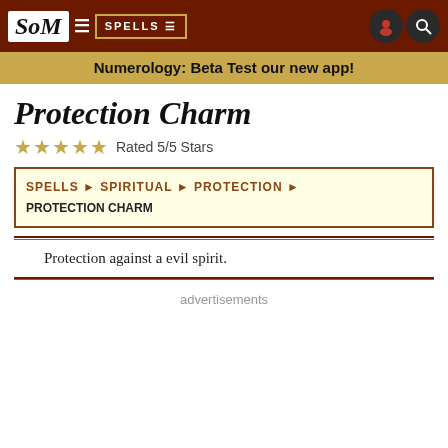SoM | SPELLS
Numerology: Beta Test our new app!
Protection Charm
★★★★★ Rated 5/5 Stars
SPELLS ► SPIRITUAL ► PROTECTION ► PROTECTION CHARM
Protection against a evil spirit.
advertisements